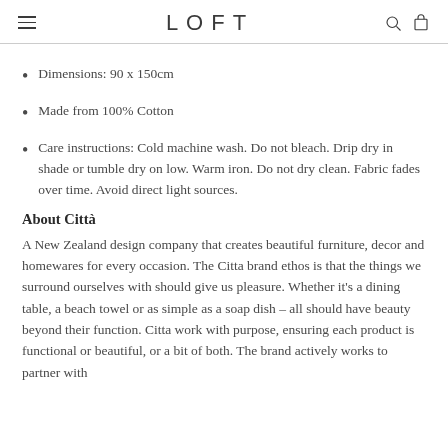LOFT
Dimensions: 90 x 150cm
Made from 100% Cotton
Care instructions: Cold machine wash. Do not bleach. Drip dry in shade or tumble dry on low. Warm iron. Do not dry clean. Fabric fades over time. Avoid direct light sources.
About Città
A New Zealand design company that creates beautiful furniture, decor and homewares for every occasion. The Citta brand ethos is that the things we surround ourselves with should give us pleasure. Whether it's a dining table, a beach towel or as simple as a soap dish – all should have beauty beyond their function. Citta work with purpose, ensuring each product is functional or beautiful, or a bit of both. The brand actively works to partner with